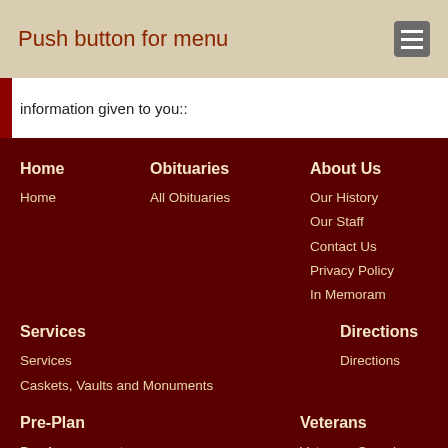Push button for menu
information given to you::
Home
Obituaries
About Us
Home
All Obituaries
Our History
Our Staff
Contact Us
Privacy Policy
In Memoram
Services
Directions
Services
Caskets, Vaults and Monuments
Directions
Pre-Plan
Veterans
Pre-Arrangements
Pre-Arrangements Form
Veterans Overview
Veterans Headstones